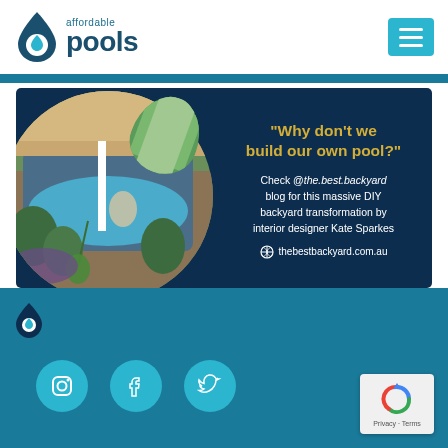[Figure (logo): Affordable Pools logo with water drop icon and text]
[Figure (infographic): Dark blue banner with circular photo of backyard pool, quote 'Why don't we build our own pool?', Check @the.best.backyard blog for this massive DIY backyard transformation by interior designer Kate Sparkes, thebestbackyard.com.au]
[Figure (infographic): Bottom teal section with Instagram, Facebook, Twitter social icons and reCAPTCHA badge]